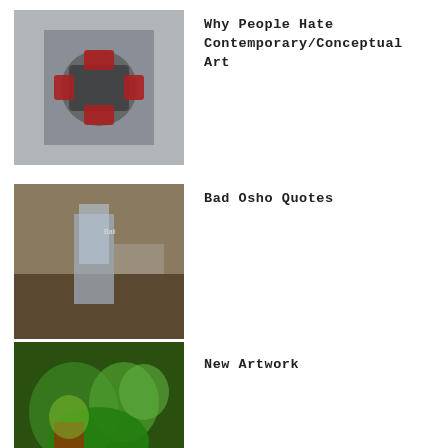[Figure (photo): Thumbnail image for 'Why People Hate Contemporary/Conceptual Art' article]
Why People Hate Contemporary/Conceptual Art
[Figure (photo): Thumbnail image for 'Bad Osho Quotes' article]
Bad Osho Quotes
[Figure (photo): Thumbnail image for 'New Artwork' article]
New Artwork
[Figure (photo): Thumbnail image for 'How art history got Jackson Pollock all wrong, and why it matters.' article]
How art history got Jackson Pollock all wrong, and why it matters.
[Figure (photo): Thumbnail image for 'Great Art by Famous Artists Lost, Destroyed, or Censored' article]
Great Art by Famous Artists Lost, Destroyed, or Censored